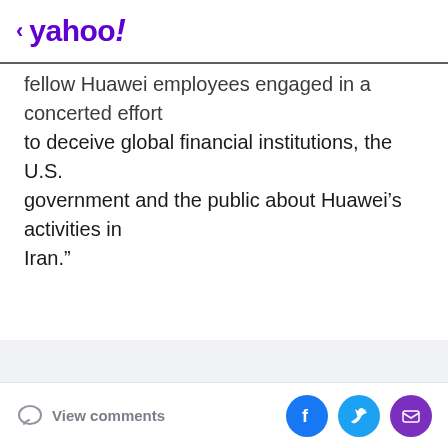< yahoo!
fellow Huawei employees engaged in a concerted effort to deceive global financial institutions, the U.S. government and the public about Huawei’s activities in Iran.”
Advertisement
View comments